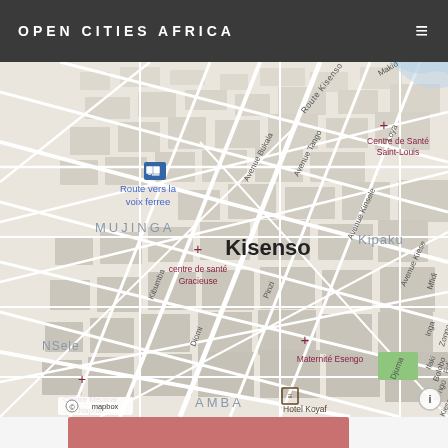OPEN CITIES AFRICA
[Figure (map): Street map of Kisenso district, Kinshasa, DRC. Shows labeled streets including Route Kisenso, Avenue Bukala, Avenue Tango, Loya, Makio; neighborhoods MUJINGA, Kisenso, Kipaku, NSele, AMBA; health facilities marked with red crosses: Centre de Santé Saint-Louis, centre de santé Gracieuse, Maternité Esengo, Centre Médical Napria; also shows Route vers la voix ferree with bus icon, Hotel Koyaf, Avenue Kinsele, Avenue Kiese, Mfidi, Inga, Zongo, Fidi, Bolobo, Yongo, Ifaki, Kiese, Djuma, Pinzi, Kibumba, Diomi street labels. Mapbox attribution and info button visible.]